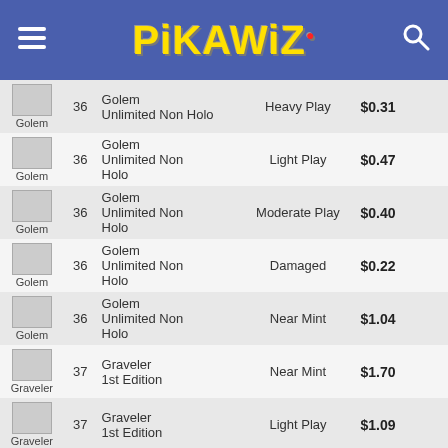PikaWiz
| Image | # | Card | Condition | Price |
| --- | --- | --- | --- | --- |
| Golem | 36 | Golem Unlimited Non Holo | Heavy Play | $0.31 |
| Golem | 36 | Golem Unlimited Non Holo | Light Play | $0.47 |
| Golem | 36 | Golem Unlimited Non Holo | Moderate Play | $0.40 |
| Golem | 36 | Golem Unlimited Non Holo | Damaged | $0.22 |
| Golem | 36 | Golem Unlimited Non Holo | Near Mint | $1.04 |
| Graveler | 37 | Graveler 1st Edition | Near Mint | $1.70 |
| Graveler | 37 | Graveler 1st Edition | Light Play | $1.09 |
| Graveler | 37 | Graveler 1st Edition | Moderate Play | $0.68 |
| Graveler | 37 | Graveler 1st Edition | Heavy Play | $0.61 |